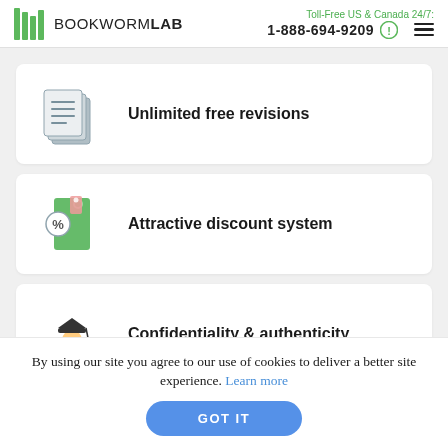BOOKWORMLAB | Toll-Free US & Canada 24/7: 1-888-694-9209
Unlimited free revisions
Attractive discount system
Confidentiality & authenticity
By using our site you agree to our use of cookies to deliver a better site experience. Learn more
GOT IT